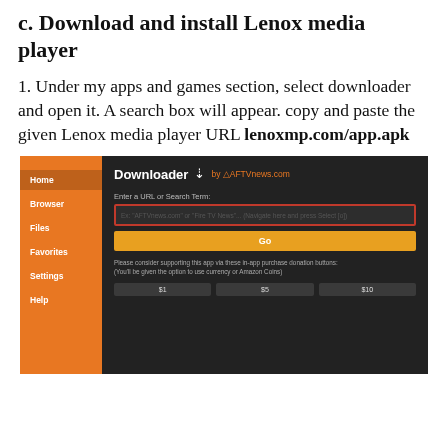c. Download and install Lenox media player
1. Under my apps and games section, select downloader and open it. A search box will appear. copy and paste the given Lenox media player URL lenoxmp.com/app.apk
[Figure (screenshot): Screenshot of the Downloader app by AFTVnews.com showing a URL input field with a red border, a yellow Go button, donation support text, and $1, $5, $10 donation buttons. Orange sidebar with navigation items: Home, Browser, Files, Favorites, Settings, Help.]